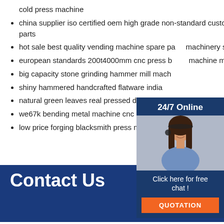cold press machine
china supplier iso certified oem high grade non-standard custom self reversing screw shaft machinery industrial parts
hot sale best quality vending machine spare parts machinery spare parts
european standards 200t4000mm cnc press brake machine mild steel moderate price
big capacity stone grinding hammer mill mach
shiny hammered handcrafted flatware india
natural green leaves real pressed dried plum blossom flower press kit
we67k bending metal machine cnc heavy duty press brake machine light pole
low price forging blacksmith press making kitchen forging
[Figure (other): 24/7 Online chat widget with a woman wearing a headset, blue background, with 'Click here for free chat!' text and orange QUOTATION button]
Contact Us
[Figure (logo): TOP logo with orange dots arranged in triangle pattern above orange text 'TOP' on blue background]